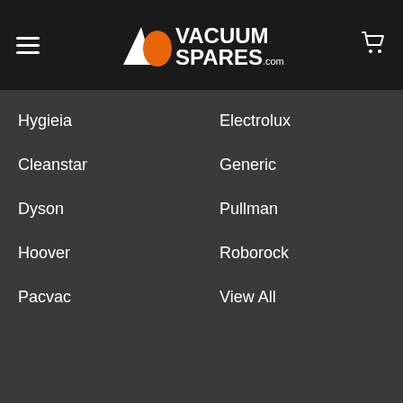Vacuum Spares .com.au
Hygieia
Electrolux
Cleanstar
Generic
Dyson
Pullman
Hoover
Roborock
Pacvac
View All
© 2022 VacuumSpares.com.au.
[Figure (logo): Payment method logos: MasterCard, PayPal, VISA, afterpay, humm]